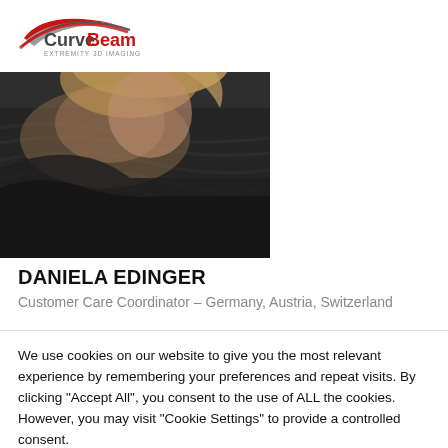[Figure (logo): CurveBeam Extremity 3D Imaging logo with red swoosh and dark grey text]
[Figure (photo): Partial view of a woman with blonde hair wearing a dark textured jacket, photo cropped to show shoulder and head area]
DANIELA EDINGER
Customer Care Coordinator – Germany, Austria, Switzerland
We use cookies on our website to give you the most relevant experience by remembering your preferences and repeat visits. By clicking "Accept All", you consent to the use of ALL the cookies. However, you may visit "Cookie Settings" to provide a controlled consent.